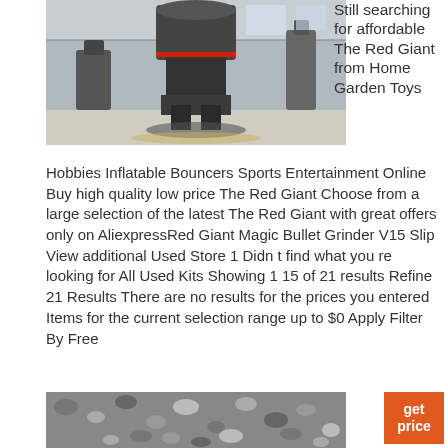[Figure (photo): Industrial machinery (large grinder/mill equipment) inside a factory warehouse with concrete floor and steel structure]
Still searching for affordable The Red Giant from Home Garden Toys
Hobbies Inflatable Bouncers Sports Entertainment Online Buy high quality low price The Red Giant Choose from a large selection of the latest The Red Giant with great offers only on AliexpressRed Giant Magic Bullet Grinder V15 Slip View additional Used Store 1 Didn t find what you re looking for All Used Kits Showing 1 15 of 21 results Refine 21 Results There are no results for the prices you entered Items for the current selection range up to $0 Apply Filter By Free
[Figure (photo): Gravel or stone aggregate material close-up photo]
get price